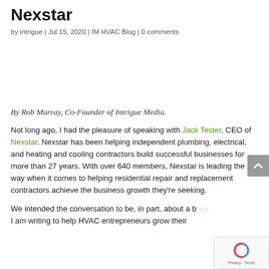Nexstar
by intrigue | Jul 15, 2020 | IM HVAC Blog | 0 comments
By Rob Murray, Co-Founder of Intrigue Media.
Not long ago, I had the pleasure of speaking with Jack Tester, CEO of Nexstar. Nexstar has been helping independent plumbing, electrical, and heating and cooling contractors build successful businesses for more than 27 years. With over 640 members, Nexstar is leading the way when it comes to helping residential repair and replacement contractors achieve the business growth they're seeking.
We intended the conversation to be, in part, about a b[ook] I am writing to help HVAC entrepreneurs grow their [business]